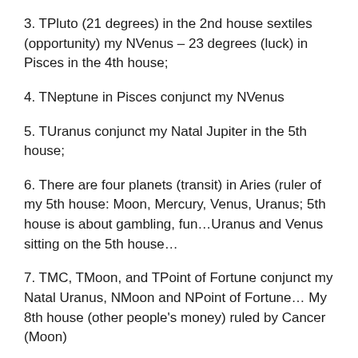3. TPluto (21 degrees) in the 2nd house sextiles (opportunity) my NVenus – 23 degrees (luck) in Pisces in the 4th house;
4. TNeptune in Pisces conjunct my NVenus
5. TUranus conjunct my Natal Jupiter in the 5th house;
6. There are four planets (transit) in Aries (ruler of my 5th house: Moon, Mercury, Venus, Uranus; 5th house is about gambling, fun…Uranus and Venus sitting on the 5th house…
7. TMC, TMoon, and TPoint of Fortune conjunct my Natal Uranus, NMoon and NPoint of Fortune… My 8th house (other people's money) ruled by Cancer (Moon)